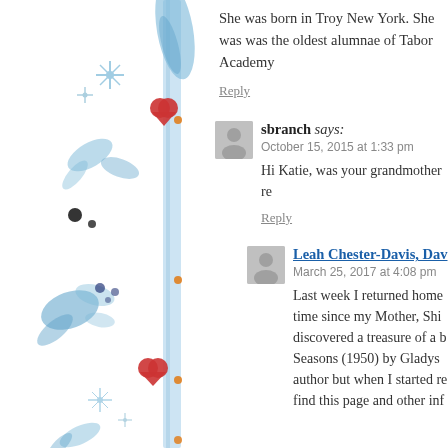[Figure (illustration): Decorative watercolor-style left border with blue ribbon/stripe, red hearts/berries, blue snowflake/flower motifs, blue leaf and bird shapes, black dots, and orange dots arranged vertically along the left side of the page.]
She was born in Troy New York. She was was the oldest alumnae of Tabor Academy
Reply
sbranch says:
October 15, 2015 at 1:33 pm

Hi Katie, was your grandmother re

Reply
Leah Chester-Davis, Dav
March 25, 2017 at 4:08 pm

Last week I returned home time since my Mother, Shi discovered a treasure of a b Seasons (1950) by Gladys author but when I started re find this page and other inf